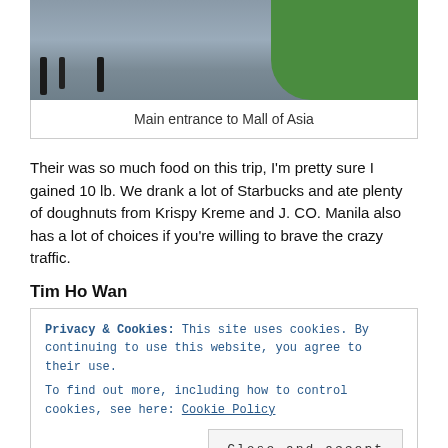[Figure (photo): Partial photo showing people walking on a paved plaza area with green grass/garden on the right side — bottom portion of a photo of the main entrance to Mall of Asia]
Main entrance to Mall of Asia
Their was so much food on this trip, I'm pretty sure I gained 10 lb. We drank a lot of Starbucks and ate plenty of doughnuts from Krispy Kreme and J. CO. Manila also has a lot of choices if you're willing to brave the crazy traffic.
Tim Ho Wan
Privacy & Cookies: This site uses cookies. By continuing to use this website, you agree to their use.
To find out more, including how to control cookies, see here: Cookie Policy
Close and accept
acts as your place mat. Most items have a picture and you